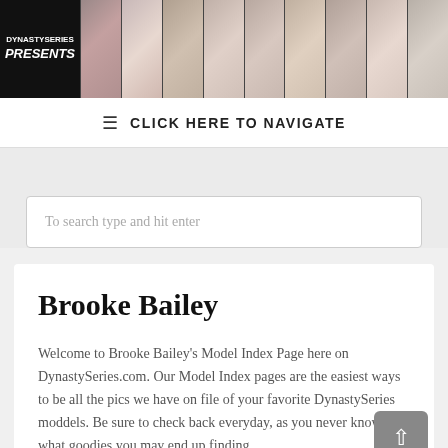[Figure (photo): Website header banner showing logo text 'DynastySeries PRESENTS' on dark background with a strip of 9 model photos in white clothing]
≡  CLICK HERE TO NAVIGATE
To search type and hit enter
Brooke Bailey
Welcome to Brooke Bailey's Model Index Page here on DynastySeries.com. Our Model Index pages are the easiest ways to be all the pics we have on file of your favorite DynastySeries moddels. Be sure to check back everyday, as you never know what goodies you may end up finding.